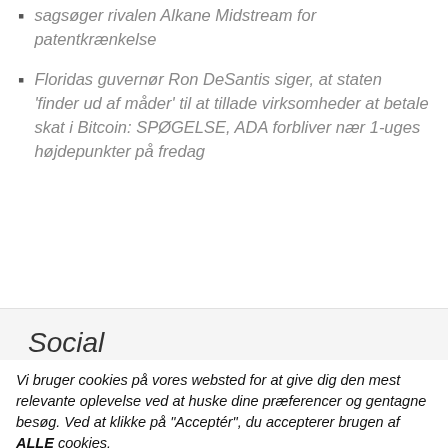sagsøger rivalen Alkane Midstream for patentkrænkelse
Floridas guvernør Ron DeSantis siger, at staten 'finder ud af måder' til at tillade virksomheder at betale skat i Bitcoin: SPØGELSE, ADA forbliver nær 1-uges højdepunkter på fredag
Social
Vi bruger cookies på vores websted for at give dig den mest relevante oplevelse ved at huske dine præferencer og gentagne besøg. Ved at klikke på "Acceptér", du accepterer brugen af ALLE cookies.
Sælg ikke mine personlige oplysninger.